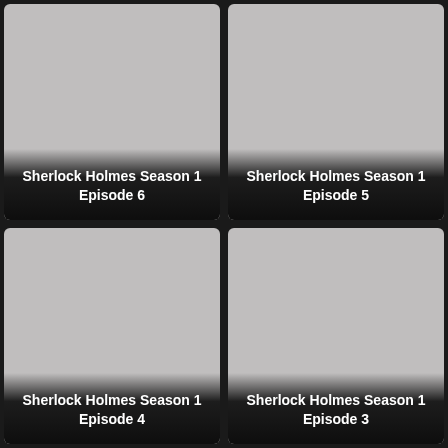[Figure (screenshot): Thumbnail placeholder for Sherlock Holmes Season 1 Episode 6 with grey background and title overlay at bottom]
[Figure (screenshot): Thumbnail placeholder for Sherlock Holmes Season 1 Episode 5 with grey background and title overlay at bottom]
[Figure (screenshot): Thumbnail placeholder for Sherlock Holmes Season 1 Episode 4 with grey background and title overlay at bottom]
[Figure (screenshot): Thumbnail placeholder for Sherlock Holmes Season 1 Episode 3 with grey background and title overlay at bottom]